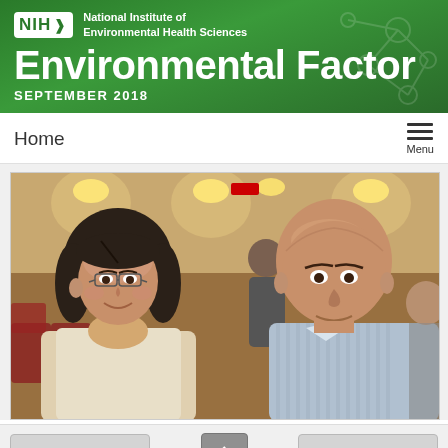NIH National Institute of Environmental Health Sciences
Environmental Factor
SEPTEMBER 2018
Home
Menu
[Figure (photo): Two people posing for a photo in what appears to be a conference room or auditorium. On the left is a woman with gray hair and glasses wearing a light-colored top. On the right is a bald man wearing a light blue striped shirt. In the background, there are red/maroon chairs and another person in a dark suit.]
◄ Previous Article
Next Article ►